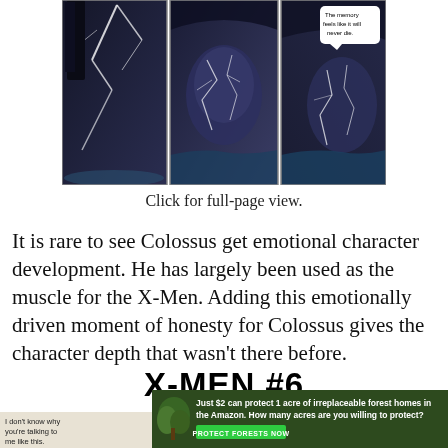[Figure (illustration): Three comic book panels showing dark, moody scenes. First panel: lightning or energy crackling in dark space. Second panel: a face or figure with cracked/fractured appearance in dark blue tones. Third panel: similar cracked figure in dark tones with a speech bubble reading 'The memory feels like it will never die.']
Click for full-page view.
It is rare to see Colossus get emotional character development. He has largely been used as the muscle for the X-Men. Adding this emotionally driven moment of honesty for Colossus gives the character depth that wasn't there before.
X-MEN #6
[Figure (illustration): Bottom portion of a comic book page showing a scene with text 'I don't know why you're talking to me like this.' alongside a reddish-orange landscape.]
[Figure (illustration): Advertisement banner: 'Just $2 can protect 1 acre of irreplaceable forest homes in the Amazon. How many acres are you willing to protect?' with a 'PROTECT FORESTS NOW' button on dark green background with forest imagery.]